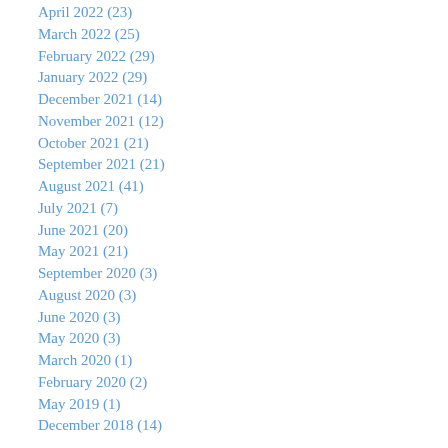April 2022 (23)
March 2022 (25)
February 2022 (29)
January 2022 (29)
December 2021 (14)
November 2021 (12)
October 2021 (21)
September 2021 (21)
August 2021 (41)
July 2021 (7)
June 2021 (20)
May 2021 (21)
September 2020 (3)
August 2020 (3)
June 2020 (3)
May 2020 (3)
March 2020 (1)
February 2020 (2)
May 2019 (1)
December 2018 (14)